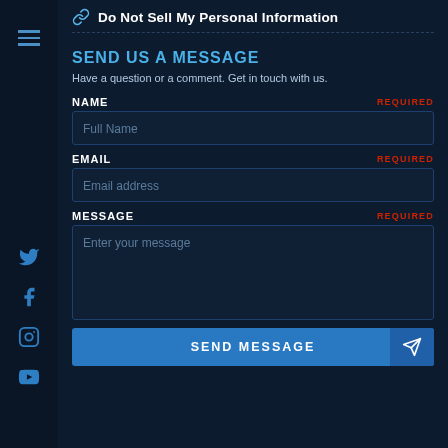Do Not Sell My Personal Information
SEND US A MESSAGE
Have a question or a comment. Get in touch with us.
NAME  REQUIRED
Full Name
EMAIL  REQUIRED
Email address
MESSAGE  REQUIRED
Enter your message
SEND MESSAGE